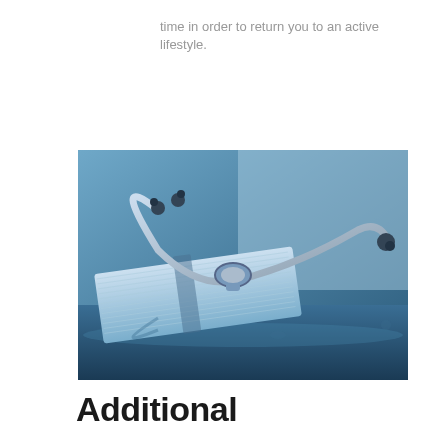time in order to return you to an active lifestyle.
[Figure (photo): Close-up photograph of a stethoscope resting on top of an open book/medical journal, with a blue-toned color cast. The stethoscope's ear tips and tubing are visible draped over the pages.]
Additional